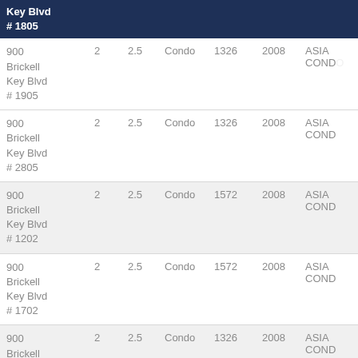| Address | Bed | Bath | Type | Sqft | Year | Building |
| --- | --- | --- | --- | --- | --- | --- |
| 900 Brickell Key Blvd # 1805 | 2 | 2.5 | Condo | 1326 | 2008 | ASIA CONDO |
| 900 Brickell Key Blvd # 1905 | 2 | 2.5 | Condo | 1326 | 2008 | ASIA CONDO |
| 900 Brickell Key Blvd # 2805 | 2 | 2.5 | Condo | 1326 | 2008 | ASIA CONDO |
| 900 Brickell Key Blvd # 1202 | 2 | 2.5 | Condo | 1572 | 2008 | ASIA CONDO |
| 900 Brickell Key Blvd # 1702 | 2 | 2.5 | Condo | 1572 | 2008 | ASIA CONDO |
| 900 Brickell Key Blvd (partial) | 2 | 2.5 | Condo | 1326 | 2008 | ASIA CONDO |